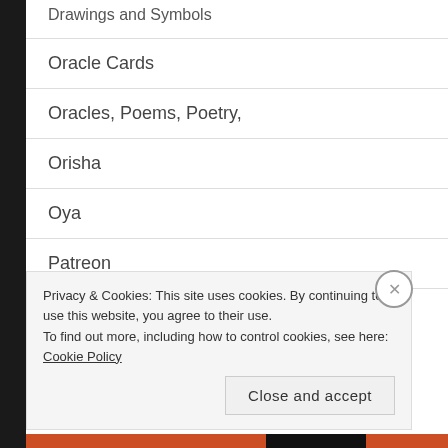Drawings and Symbols
Oracle Cards
Oracles, Poems, Poetry,
Orisha
Oya
Patreon
Poetry, Poem
Privacy & Cookies: This site uses cookies. By continuing to use this website, you agree to their use.
To find out more, including how to control cookies, see here: Cookie Policy
Close and accept